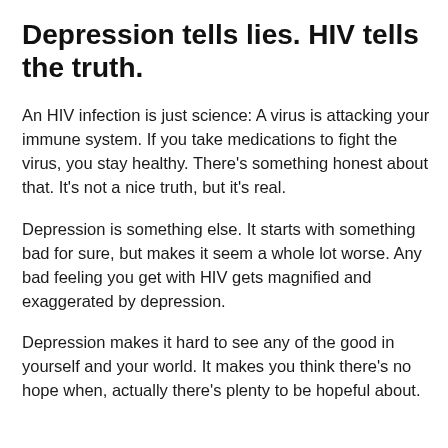Depression tells lies. HIV tells the truth.
An HIV infection is just science: A virus is attacking your immune system. If you take medications to fight the virus, you stay healthy. There’s something honest about that. It’s not a nice truth, but it’s real.
Depression is something else. It starts with something bad for sure, but makes it seem a whole lot worse. Any bad feeling you get with HIV gets magnified and exaggerated by depression.
Depression makes it hard to see any of the good in yourself and your world. It makes you think there’s no hope when, actually there’s plenty to be hopeful about.